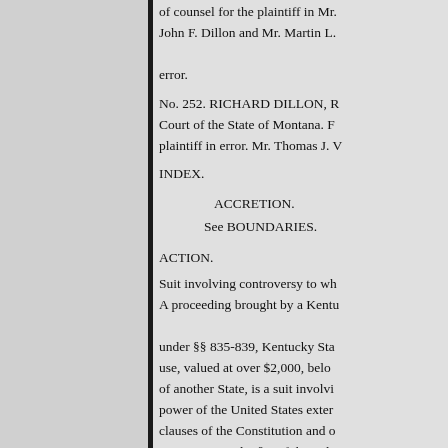of counsel for the plaintiff in Mr. John F. Dillon and Mr. Martin L. error.
No. 252. RICHARD DILLON, R Court of the State of Montana. F plaintiff in error. Mr. Thomas J. V
INDEX.
ACCRETION.
See BOUNDARIES.
ACTION.
Suit involving controversy to wh A proceeding brought by a Kentu under §§ 835-839, Kentucky Sta use, valued at over $2,000, belo of another State, is a suit involvi power of the United States exter clauses of the Constitution and o cognizance under § 1 of the judi to the Circuit Court of the Unite